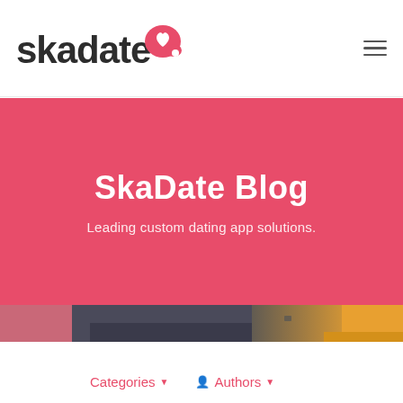skadate [logo with heart icon] — hamburger menu
SkaDate Blog
Leading custom dating app solutions.
[Figure (photo): Close-up photo of a person's hands typing on a laptop keyboard, with a pink jacket visible on the left and a yellow background on the right.]
Categories ▼
Authors ▼